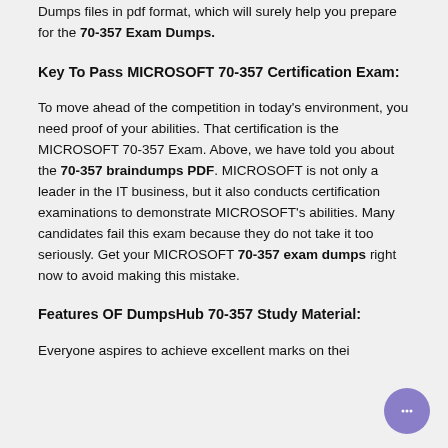Dumps files in pdf format, which will surely help you prepare for the 70-357 Exam Dumps.
Key To Pass MICROSOFT 70-357 Certification Exam:
To move ahead of the competition in today's environment, you need proof of your abilities. That certification is the MICROSOFT 70-357 Exam. Above, we have told you about the 70-357 braindumps PDF. MICROSOFT is not only a leader in the IT business, but it also conducts certification examinations to demonstrate MICROSOFT's abilities. Many candidates fail this exam because they do not take it too seriously. Get your MICROSOFT 70-357 exam dumps right now to avoid making this mistake.
Features OF DumpsHub 70-357 Study Material:
Everyone aspires to achieve excellent marks on their first attempt. To achieve this goal, you should have the ability